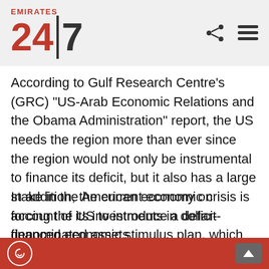Emirates 24|7
According to Gulf Research Centre's (GRC) "US-Arab Economic Relations and the Obama Administration" report, the US needs the region more than ever since the region would not only be instrumental to finance its deficit, but it also has a large stake in the American economy on account of its investments in dollar-denominated assets.
In addition, the current economic crisis is forcing the US to introduce a deficit-financed economic stimulus plan, which will require even more investment by GCC countries and China in US government treasury bills and bonds.